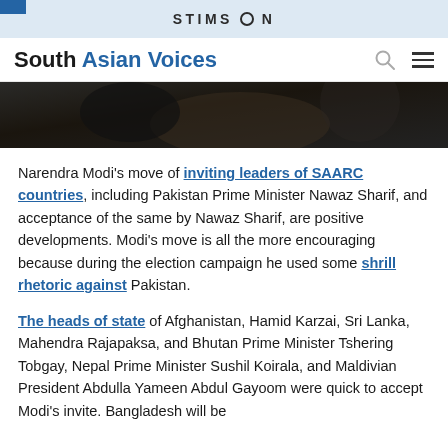STIMSON
South Asian Voices
[Figure (photo): Dark photograph showing people in formal attire, partially cropped at top of article]
Narendra Modi's move of inviting leaders of SAARC countries, including Pakistan Prime Minister Nawaz Sharif, and acceptance of the same by Nawaz Sharif, are positive developments. Modi's move is all the more encouraging because during the election campaign he used some shrill rhetoric against Pakistan.
The heads of state of Afghanistan, Hamid Karzai, Sri Lanka, Mahendra Rajapaksa, and Bhutan Prime Minister Tshering Tobgay, Nepal Prime Minister Sushil Koirala, and Maldivian President Abdulla Yameen Abdul Gayoom were quick to accept Modi's invite. Bangladesh will be